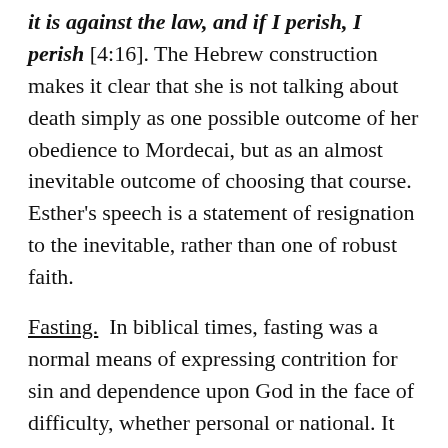it is against the law, and if I perish, I perish [4:16]. The Hebrew construction makes it clear that she is not talking about death simply as one possible outcome of her obedience to Mordecai, but as an almost inevitable outcome of choosing that course. Esther's speech is a statement of resignation to the inevitable, rather than one of robust faith.
Fasting. In biblical times, fasting was a normal means of expressing contrition for sin and dependence upon God in the face of difficulty, whether personal or national. It was also a statement that there is more to this life than mere physical existence. Fasting continues to be an appropriate response for God's people to personal or corporate problems. When we face overwhelming difficulties in our lives, or in our churches, it is appropriate for us to fast and seek the